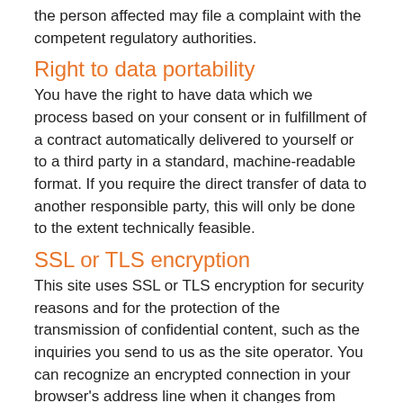the person affected may file a complaint with the competent regulatory authorities.
Right to data portability
You have the right to have data which we process based on your consent or in fulfillment of a contract automatically delivered to yourself or to a third party in a standard, machine-readable format. If you require the direct transfer of data to another responsible party, this will only be done to the extent technically feasible.
SSL or TLS encryption
This site uses SSL or TLS encryption for security reasons and for the protection of the transmission of confidential content, such as the inquiries you send to us as the site operator. You can recognize an encrypted connection in your browser's address line when it changes from "http://" to "https://" and the lock icon is displayed in your browser's address bar.
If SSL or TLS encryption is activated, the data you